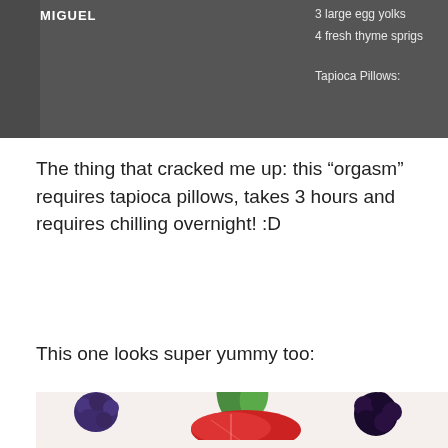[Figure (photo): Partial screenshot of a recipe page showing text: 'MIGUEL' on the left, and on the right: '3 large egg yolks', '4 fresh thyme sprigs', 'Tapioca Pillows:' — dark/grey background with white text.]
The thing that cracked me up: this “orgasm” requires tapioca pillows, takes 3 hours and requires chilling overnight! :D
This one looks super yummy too:
[Figure (photo): Photo of a dessert topped with fresh berries: a sliced strawberry in the center, blackberries and blueberries on the left and right, and a sprig of fresh mint leaves on top. White creamy base visible at the bottom.]